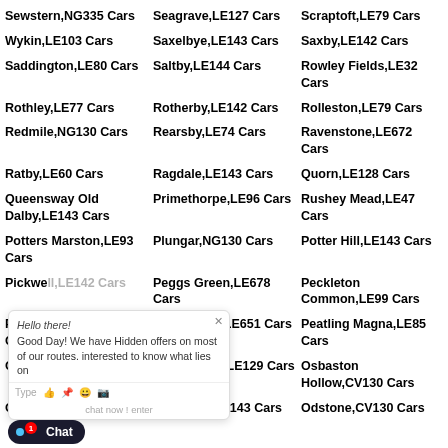Sewstern,NG335 Cars
Seagrave,LE127 Cars
Scraptoft,LE79 Cars
Wykin,LE103 Cars
Saxelbye,LE143 Cars
Saxby,LE142 Cars
Saddington,LE80 Cars
Saltby,LE144 Cars
Rowley Fields,LE32 Cars
Rothley,LE77 Cars
Rotherby,LE142 Cars
Rolleston,LE79 Cars
Redmile,NG130 Cars
Rearsby,LE74 Cars
Ravenstone,LE672 Cars
Ratby,LE60 Cars
Ragdale,LE143 Cars
Quorn,LE128 Cars
Queensway Old Dalby,LE143 Cars
Primethorpe,LE96 Cars
Rushey Mead,LE47 Cars
Potters Marston,LE93 Cars
Plungar,NG130 Cars
Potter Hill,LE143 Cars
Pickwell,LE142 Cars
Peggs Green,LE678 Cars
Peckleton Common,LE99 Cars
Peatling Parva,LE175 Cars
Packington,LE651 Cars
Peatling Magna,LE85 Cars
Outwood,LE158 Cars
Osgathorpe,LE129 Cars
Osbaston Hollow,CV130 Cars
Old Ingarsby,LE79 Cars
Old Dalby,LE143 Cars
Odstone,CV130 Cars